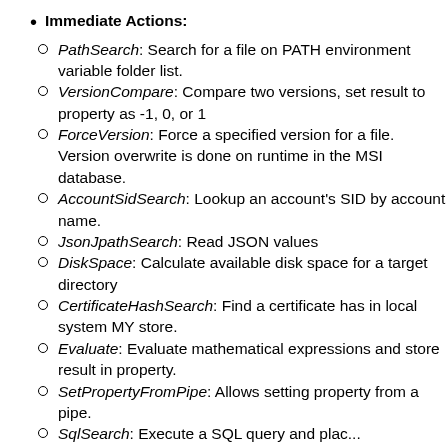Immediate Actions:
PathSearch: Search for a file on PATH environment variable folder list.
VersionCompare: Compare two versions, set result to property as -1, 0, or 1
ForceVersion: Force a specified version for a file. Version overwrite is done on runtime in the MSI database.
AccountSidSearch: Lookup an account's SID by account name.
JsonJpathSearch: Read JSON values
DiskSpace: Calculate available disk space for a target directory
CertificateHashSearch: Find a certificate has in local system MY store.
Evaluate: Evaluate mathematical expressions and store result in property.
SetPropertyFromPipe: Allows setting property from a pipe.
SqlSearch: Execute a SQL query and place...